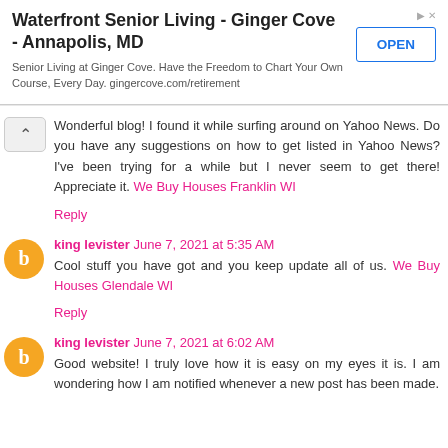[Figure (other): Advertisement banner for Waterfront Senior Living - Ginger Cove - Annapolis, MD with OPEN button]
Wonderful blog! I found it while surfing around on Yahoo News. Do you have any suggestions on how to get listed in Yahoo News? I've been trying for a while but I never seem to get there! Appreciate it. We Buy Houses Franklin WI
Reply
king levister June 7, 2021 at 5:35 AM
Cool stuff you have got and you keep update all of us. We Buy Houses Glendale WI
Reply
king levister June 7, 2021 at 6:02 AM
Good website! I truly love how it is easy on my eyes it is. I am wondering how I am notified whenever a new post has been made.